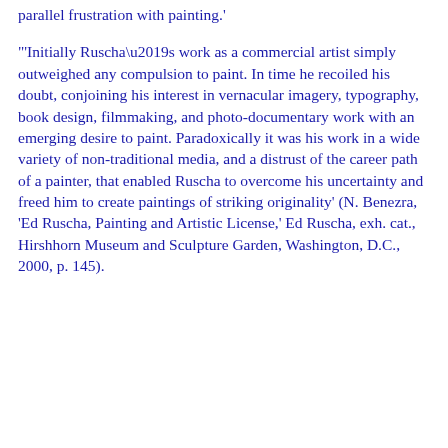parallel frustration with painting.'
"'Initially Ruscha’s work as a commercial artist simply outweighed any compulsion to paint. In time he recoiled his doubt, conjoining his interest in vernacular imagery, typography, book design, filmmaking, and photo-documentary work with an emerging desire to paint. Paradoxically it was his work in a wide variety of non-traditional media, and a distrust of the career path of a painter, that enabled Ruscha to overcome his uncertainty and freed him to create paintings of striking originality' (N. Benezra, 'Ed Ruscha, Painting and Artistic License,' Ed Ruscha, exh. cat., Hirshhorn Museum and Sculpture Garden, Washington, D.C., 2000, p. 145).